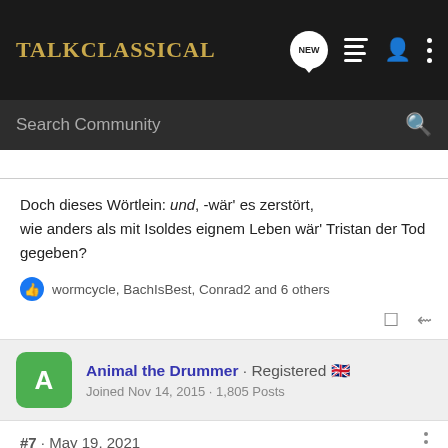[Figure (screenshot): TalkClassical forum website navigation bar with logo, new message bubble, list icon, user icon, and three-dots menu icon on dark background]
Search Community
Doch dieses Wörtlein: und, -wär' es zerstört,
wie anders als mit Isoldes eignem Leben wär' Tristan der Tod gegeben?
wormcycle, BachIsBest, Conrad2 and 6 others
Animal the Drummer · Registered 🇬🇧
Joined Nov 14, 2015 · 1,805 Posts
#7 · May 19, 2021
Some of it was popular when it was new. Tastes have changed plenty in the meantime though.